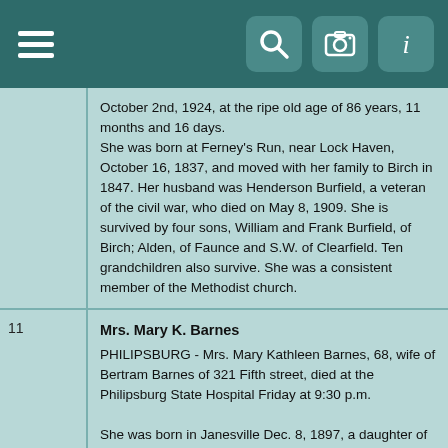Navigation bar with hamburger menu and icons
October 2nd, 1924, at the ripe old age of 86 years, 11 months and 16 days.
She was born at Ferney's Run, near Lock Haven, October 16, 1837, and moved with her family to Birch in 1847. Her husband was Henderson Burfield, a veteran of the civil war, who died on May 8, 1909. She is survived by four sons, William and Frank Burfield, of Birch; Alden, of Faunce and S.W. of Clearfield. Ten grandchildren also survive. She was a consistent member of the Methodist church.
Mrs. Mary K. Barnes
PHILIPSBURG - Mrs. Mary Kathleen Barnes, 68, wife of Bertram Barnes of 321 Fifth street, died at the Philipsburg State Hospital Friday at 9:30 p.m.
She was born in Janesville Dec. 8, 1897, a daughter of John E. and Ida Smiley Herdman and was a member of the Methodist Church.
Mrs. Barnes is survived by her husband; one son, Kenneth, and a grandson, Kenneth G., both of Alexandria, Va.; a brother, Clifford, Nu Mine, Pa.; a sister, Mrs. Charles Copenhaver (Mable), Mount Union. Also surviving are several nieces and nephews.
She was preceded in death by a sister, Mrs. W.A. Stodart, and a brother, Bruce.
Funeral services will be held Tuesday at 2 p.m. from the Eboch and